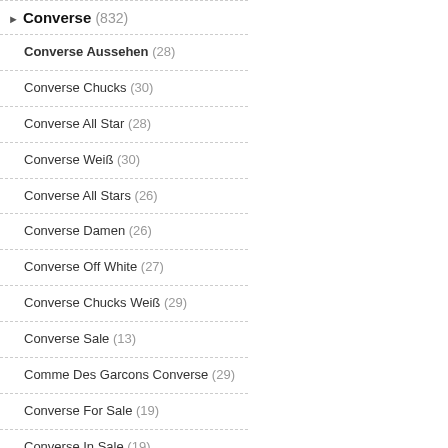Converse (832)
Converse Aussehen (28)
Converse Chucks (30)
Converse All Star (28)
Converse Weiß (30)
Converse All Stars (26)
Converse Damen (26)
Converse Off White (27)
Converse Chucks Weiß (29)
Converse Sale (13)
Comme Des Garcons Converse (29)
Converse For Sale (19)
Converse In Sale (19)
Converse On Sale (27)
Converse Comme Des Garcons (29)